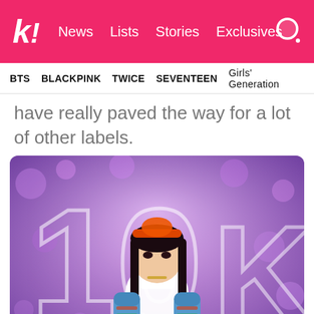k! News Lists Stories Exclusives
BTS BLACKPINK TWICE SEVENTEEN Girls' Generation
have really paved the way for a lot of other labels.
[Figure (photo): A female K-pop performer on stage wearing a white crop top, blue patterned arm warmers, and an orange headband, performing with a microphone against a purple bokeh background with large illuminated letters.]